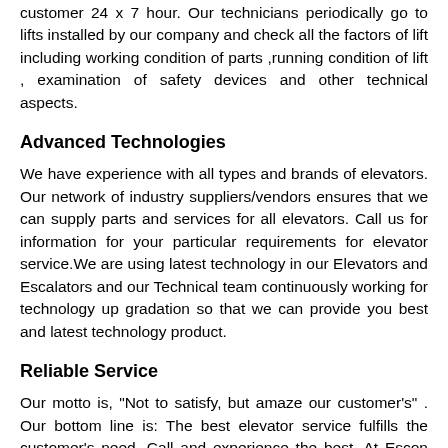customer 24 x 7 hour. Our technicians periodically go to lifts installed by our company and check all the factors of lift including working condition of parts ,running condition of lift , examination of safety devices and other technical aspects.
Advanced Technologies
We have experience with all types and brands of elevators. Our network of industry suppliers/vendors ensures that we can supply parts and services for all elevators. Call us for information for your particular requirements for elevator service.We are using latest technology in our Elevators and Escalators and our Technical team continuously working for technology up gradation so that we can provide you best and latest technology product.
Reliable Service
Our motto is, "Not to satisfy, but amaze our customer's" . Our bottom line is: The best elevator service fulfills the customer's need. Call and experience the best. At Escon we work hard to deliver what matters to you: safe, reliable, and comfortable